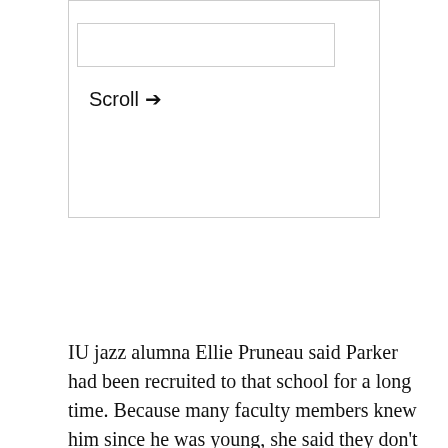[Figure (screenshot): A UI widget box with a horizontal scrollbar element and a 'Scroll →' label inside a bordered container]
IU jazz alumna Ellie Pruneau said Parker had been recruited to that school for a long time. Because many faculty members knew him since he was young, she said they don't see him as a bad person, and what happened was just a problem of the past.
“He was like their shining star,” Pruneau said.
After finding out about Ostlund’s allegations, IU jazz alumna Hannah Marks spoke to a professor about what had happened. She said the faculty couldn’t do much to remedy the problem since handling the